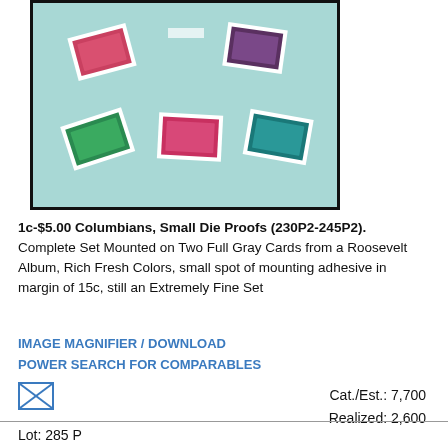[Figure (photo): Photo of stamp collection: five Columbian Small Die Proofs mounted on gray card against teal/light blue background, enclosed in black-bordered frame. Stamps include red, green, pink/carmine, and purple/dark colors.]
1c-$5.00 Columbians, Small Die Proofs (230P2-245P2). Complete Set Mounted on Two Full Gray Cards from a Roosevelt Album, Rich Fresh Colors, small spot of mounting adhesive in margin of 15c, still an Extremely Fine Set
IMAGE MAGNIFIER / DOWNLOAD
POWER SEARCH FOR COMPARABLES
[Figure (illustration): Envelope/mail icon (X inside envelope outline)]
Cat./Est.: 7,700
Realized: 2,600
Lot: 285 P